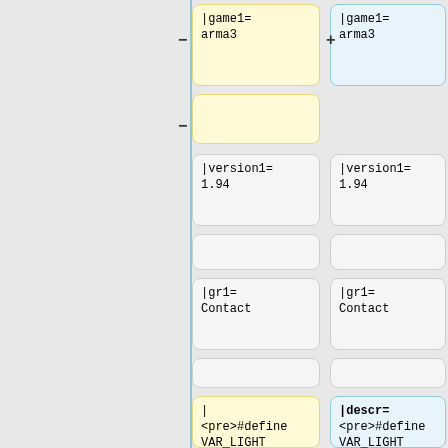[Figure (flowchart): Diff/comparison view showing two columns of code template boxes with yellow (left) and blue (right) highlighting. Boxes contain template parameters: game1=arma3, version1=1.94, gr1=Contact, and a descr field with #define VAR_LIGHT 'BIN_fnc_attachChemlight_light'. Plus and minus markers on the center line indicate additions/removals. Bottom boxes show #define VAR_KILLED.]